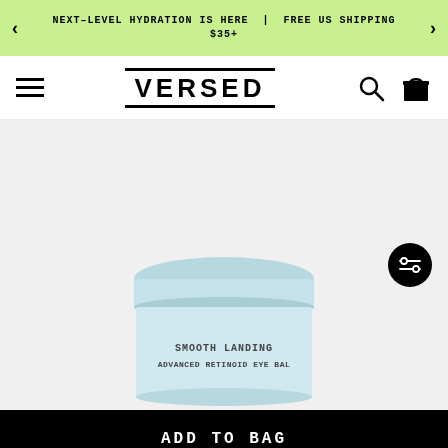NEXT-LEVEL HYDRATION IS HERE | FREE US SHIPPING $35+
[Figure (logo): VERSED brand logo with top and bottom border lines]
[Figure (photo): Product photo of Versed Smooth Landing Advanced Retinoid Eye Balm jar in light blue, partially cropped at bottom of frame. Filter/settings icon overlay in bottom right.]
ADD TO BAG